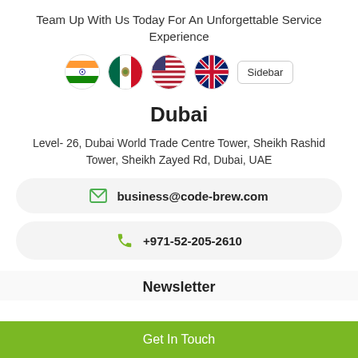Team Up With Us Today For An Unforgettable Service Experience
[Figure (illustration): Four circular flag icons (India, Mexico, USA, UK) and a Sidebar button]
Dubai
Level- 26, Dubai World Trade Centre Tower, Sheikh Rashid Tower, Sheikh Zayed Rd, Dubai, UAE
business@code-brew.com
+971-52-205-2610
Newsletter
Get In Touch